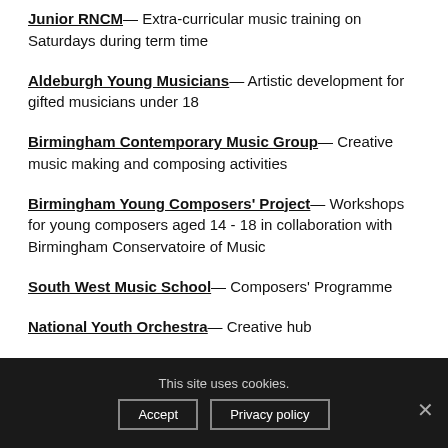Junior RNCM— Extra-curricular music training on Saturdays during term time
Aldeburgh Young Musicians— Artistic development for gifted musicians under 18
Birmingham Contemporary Music Group— Creative music making and composing activities
Birmingham Young Composers' Project— Workshops for young composers aged 14 - 18 in collaboration with Birmingham Conservatoire of Music
South West Music School— Composers' Programme
National Youth Orchestra— Creative hub
This site uses cookies.
Accept | Privacy policy